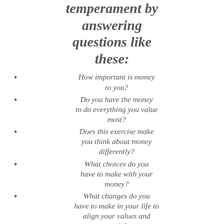temperament by answering questions like these:
How important is money to you?
Do you have the money to do everything you value most?
Does this exercise make you think about money differently?
What choices do you have to make with your money?
What changes do you have to make in your life to align your values and goals?